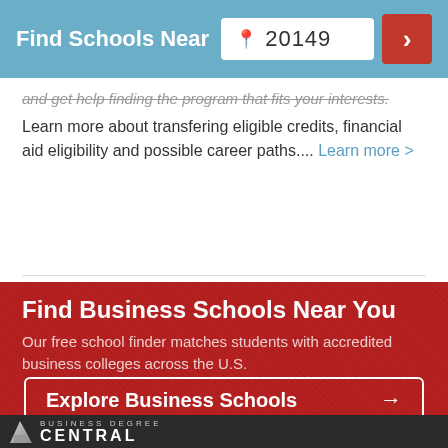Find Schools Near 20149
and get help finding the program that fits your interests. Learn more about transfering eligible credits, financial aid eligibility and possible career paths.... Learn more >
Find Business Schools Near You
Our free school finder matches students with accredited business colleges across the U.S.
Explore Business Schools →
[Figure (logo): Business Degree Central logo with white angular icon on dark background]